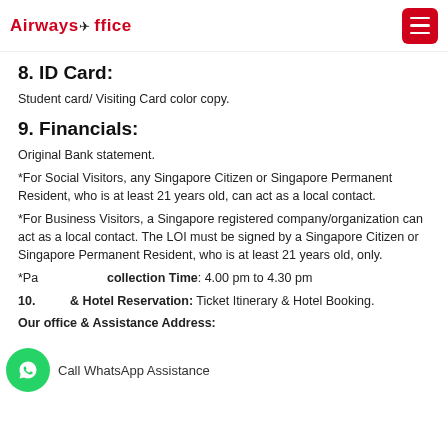Airways Office
8. ID Card:
Student card/ Visiting Card color copy.
9. Financials:
Original Bank statement.
*For Social Visitors, any Singapore Citizen or Singapore Permanent Resident, who is at least 21 years old, can act as a local contact.
*For Business Visitors, a Singapore registered company/organization can act as a local contact. The LOI must be signed by a Singapore Citizen or Singapore Permanent Resident, who is at least 21 years old, only.
*Passport collection Time: 4.00 pm to 4.30 pm
10. Ticket & Hotel Reservation: Ticket Itinerary & Hotel Booking.
Our office & Assistance Address: